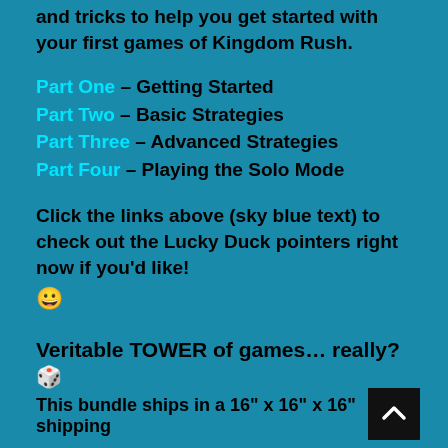and tricks to help you get started with your first games of Kingdom Rush.
Part One – Getting Started
Part Two – Basic Strategies
Part Three – Advanced Strategies
Part Four – Playing the Solo Mode
Click the links above (sky blue text) to check out the Lucky Duck pointers right now if you'd like! 😁
Veritable TOWER of games… really? 🎲
This bundle ships in a 16" x 16" x 16" shipping